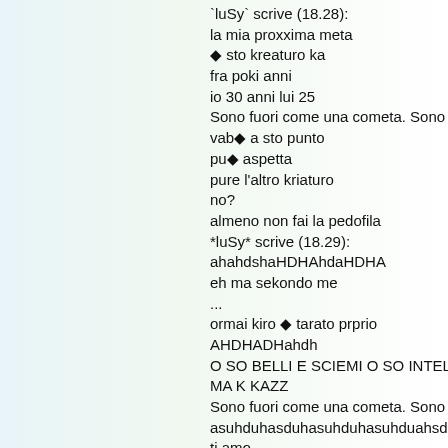`luSy` scrive (18.28):
la mia proxxima meta
◆ sto kreaturo ka
fra poki anni
io 30 anni lui 25
Sono fuori come una cometa. Sono la sua po
vab◆ a sto punto
pu◆ aspetta
pure l'altro kriaturo
no?
almeno non fai la pedofila
*luSy* scrive (18.29):
ahahdshaHDHAhdaHDHA
eh ma sekondo me
...
ormai kiro ◆ tarato prprio
AHDHADHahdh
O SO BELLI E SCIEMI O SO INTELLIGENTI
MA K KAZZ
Sono fuori come una cometa. Sono la sua po
asuhduhasduhasuhduhasuhduahsd
ti amo
:*****
:

"ormai kiro ◆ tarato prprio"